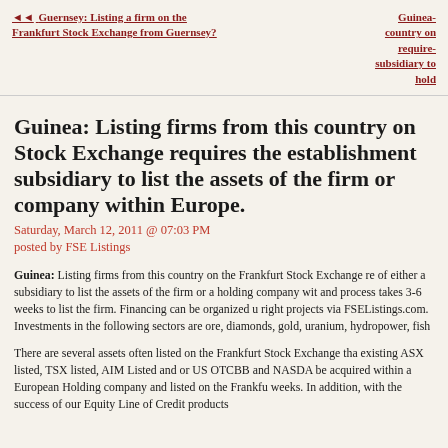◄◄ Guernsey: Listing a firm on the Frankfurt Stock Exchange from Guernsey?
Guinea- country on require- subsidiary to hold
Guinea: Listing firms from this country on Stock Exchange requires the establishment subsidiary to list the assets of the firm or company within Europe.
Saturday, March 12, 2011 @ 07:03 PM
posted by FSE Listings
Guinea: Listing firms from this country on the Frankfurt Stock Exchange re of either a subsidiary to list the assets of the firm or a holding company wit and process takes 3-6 weeks to list the firm. Financing can be organized u right projects via FSEListings.com. Investments in the following sectors are ore, diamonds, gold, uranium, hydropower, fish
There are several assets often listed on the Frankfurt Stock Exchange tha existing ASX listed, TSX listed, AIM Listed and or US OTCBB and NASDA be acquired within a European Holding company and listed on the Frankfu weeks. In addition, with the success of our Equity Line of Credit products